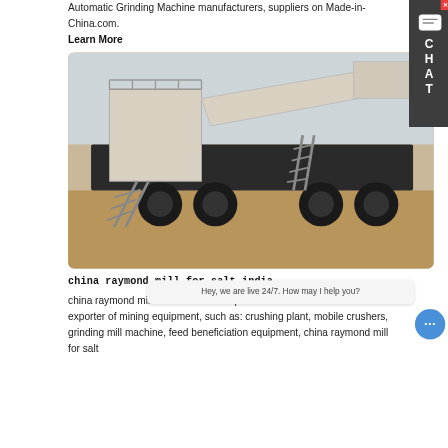Automatic Grinding Machine manufacturers, suppliers on Made-in-China.com.
Learn More
[Figure (photo): A large mobile crushing/grinding machine on a wheeled trailer, photographed outdoors on a dirt surface under an overcast sky. The machine is cream/white and black colored with stairs and walkways.]
china raymond mill for salt india
china raymond mill for salt. SAM is a professional manufacturer and exporter of mining equipment, such as: crushing plant, mobile crushers, grinding mill machine, feed... beneficiation equipment, china raymond mill for salt
[Figure (screenshot): Chat widget sidebar on the right showing C H A T letters vertically and a close button. A chat bubble bar at the bottom says 'Hey, we are live 24/7. How may I help you?' with a blue chat button.]